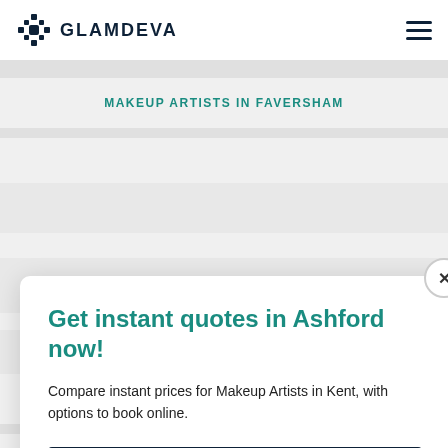GLAMDEVA
MAKEUP ARTISTS IN FAVERSHAM
Get instant quotes in Ashford now!
Compare instant prices for Makeup Artists in Kent, with options to book online.
GET INSTANT PRICES
MAKEUP ARTISTS IN CRAYFORD
MAKEUP ARTISTS IN CRANBROOK